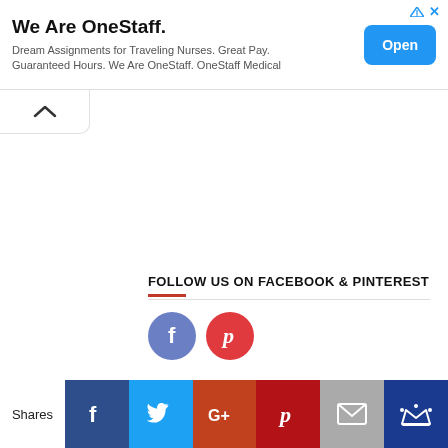[Figure (screenshot): Advertisement banner for OneStaff Medical. Title: 'We Are OneStaff.' Body: 'Dream Assignments for Traveling Nurses. Great Pay. Guaranteed Hours. We Are OneStaff. OneStaff Medical'. Blue 'Open' button on the right. Small blue ad icon and close X in top-right corner.]
[Figure (infographic): Collapsed accordion tab with a caret/up-arrow icon on a white pill-shaped button.]
FOLLOW US ON FACEBOOK & PINTEREST
[Figure (infographic): Two circular social media icons: a blue-purple Facebook 'f' icon and a red Pinterest 'p' icon.]
[Figure (infographic): Social share bar with label 'Shares' followed by buttons: Facebook (dark blue 'f'), Twitter (light blue bird), Google+ (orange-red 'G+'), Pinterest (red 'p'), Email (gray envelope), Crown (dark blue crown).]